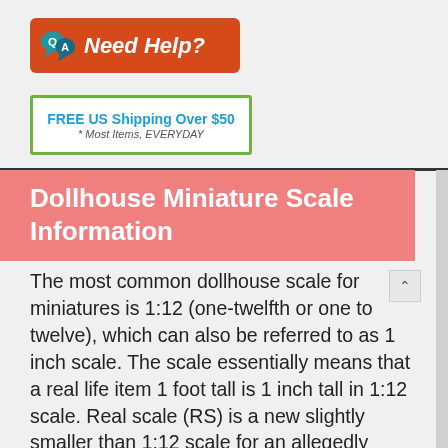[Figure (logo): Red banner with Q and A speech bubble icons and 'Need Help?' text in white italic on orange-red background]
[Figure (infographic): Green-bordered white box with 'FREE US Shipping Over $50' in blue bold and '* Most Items, EVERYDAY' in italic gray below]
Dollhouse Miniature Scale Information
The most common dollhouse scale for miniatures is 1:12 (one-twelfth or one to twelve), which can also be referred to as 1 inch scale. The scale essentially means that a real life item 1 foot tall is 1 inch tall in 1:12 scale. Real scale (RS) is a new slightly smaller than 1:12 scale for an allegedly better fit. All of the dollhouse miniatures in our store are 1:12 scale unless otherwise noted.